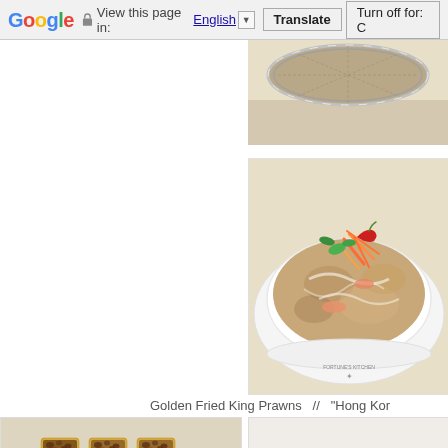Google  View this page in: English [▼]  Translate  Turn off for: C
[Figure (photo): Partial view of a restaurant table with a round metal grill/steamer basket on a beige surface]
[Figure (photo): A white bowl containing a soup dish garnished with shredded carrots and green herbs, served on a white plate on a restaurant table]
Golden Fried King Prawns  //  "Hong Kon
[Figure (photo): A white rectangular plate with pieces of toast or bread topped with minced meat (bolognese-style topping), with a spoon visible]
[Figure (photo): Partial view of a light-colored surface, possibly a table or plate]